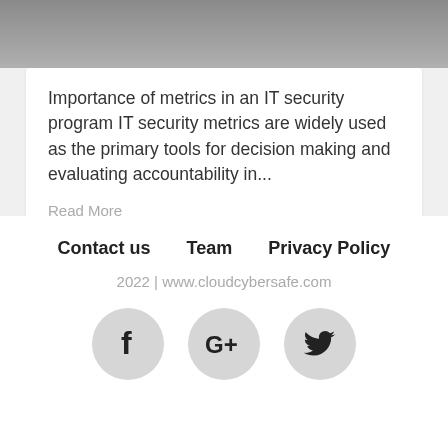[Figure (photo): Grayscale/dark image background at top of page]
Importance of metrics in an IT security program IT security metrics are widely used as the primary tools for decision making and evaluating accountability in...
Read More
Contact us   Team   Privacy Policy
2022 | www.cloudcybersafe.com
[Figure (other): Social media icons: Facebook, Google+, Twitter — circular gray buttons]